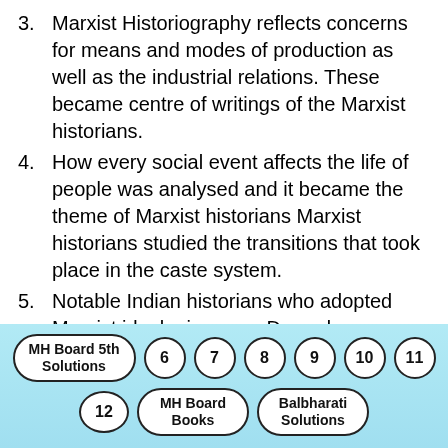3. Marxist Historiography reflects concerns for means and modes of production as well as the industrial relations. These became centre of writings of the Marxist historians.
4. How every social event affects the life of people was analysed and it became the theme of Marxist historians Marxist historians studied the transitions that took place in the caste system.
5. Notable Indian historians who adopted Marxist ideologies were Damodar Kosambi, Comrade Shripad Dange, Sharad Patil and Ram Sharan Sharma.
6. Their writings reflected Marxist
MH Board 5th Solutions  6  7  8  9  10  11  12  MH Board Books  Balbharati Solutions